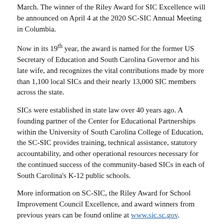March. The winner of the Riley Award for SIC Excellence will be announced on April 4 at the 2020 SC-SIC Annual Meeting in Columbia.
Now in its 19th year, the award is named for the former US Secretary of Education and South Carolina Governor and his late wife, and recognizes the vital contributions made by more than 1,100 local SICs and their nearly 13,000 SIC members across the state.
SICs were established in state law over 40 years ago. A founding partner of the Center for Educational Partnerships within the University of South Carolina College of Education, the SC-SIC provides training, technical assistance, statutory accountability, and other operational resources necessary for the continued success of the community-based SICs in each of South Carolina's K-12 public schools.
More information on SC-SIC, the Riley Award for School Improvement Council Excellence, and award winners from previous years can be found online at www.sic.sc.gov.
Members
School Improvement Council Meetings are the